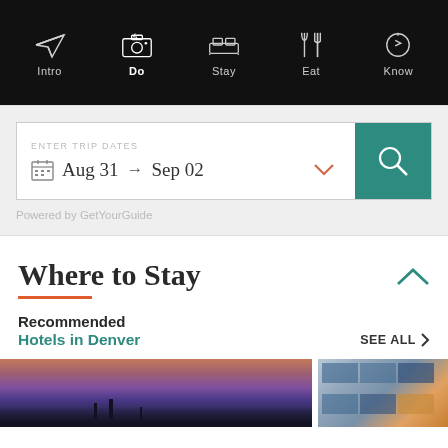Intro | Do | Stay | Eat | Know
[Figure (screenshot): Date search widget with calendar icon, Aug 31 to Sep 02 dates, teal search button]
Powered by GetYourGuide
Where to Stay
Recommended
Hotels in Denver
SEE ALL
[Figure (photo): Two hotel photos side by side: left is a skyline with purple-orange sunset sky, right is a modern building facade]